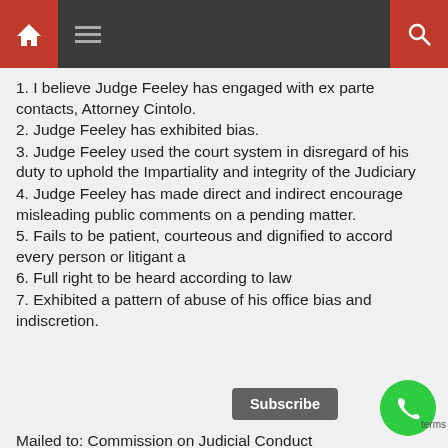Navigation bar with home, menu, and search icons
1. I believe Judge Feeley has engaged with ex parte contacts, Attorney Cintolo.
2. Judge Feeley has exhibited bias.
3. Judge Feeley used the court system in disregard of his duty to uphold the Impartiality and integrity of the Judiciary
4. Judge Feeley has made direct and indirect encourage misleading public comments on a pending matter.
5. Fails to be patient, courteous and dignified to accord every person or litigant a
6. Full right to be heard according to law
7. Exhibited a pattern of abuse of his office bias and indiscretion.
Mailed to: Commission on Judicial Conduct